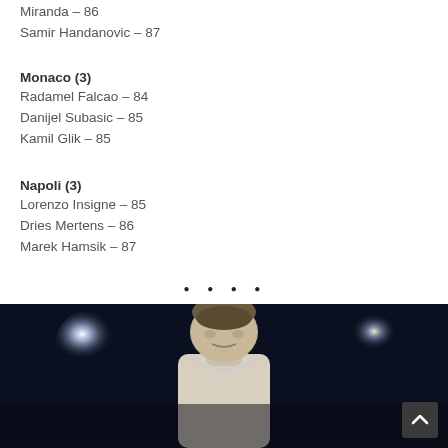Miranda – 86
Samir Handanovic – 87
Monaco (3)
Radamel Falcao – 84
Danijel Subasic – 85
Kamil Glik – 85
Napoli (3)
Lorenzo Insigne – 85
Dries Mertens – 86
Marek Hamsik – 87
[Figure (photo): A football player (resembling Cristiano Ronaldo) looking down, wearing a white jersey, with stadium floodlights in the background on a dark blue/black background.]